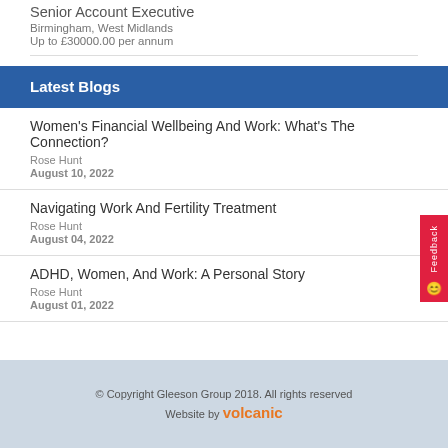Senior Account Executive
Birmingham, West Midlands
Up to £30000.00 per annum
Latest Blogs
Women's Financial Wellbeing And Work: What's The Connection?
Rose Hunt
August 10, 2022
Navigating Work And Fertility Treatment
Rose Hunt
August 04, 2022
ADHD, Women, And Work: A Personal Story
Rose Hunt
August 01, 2022
© Copyright Gleeson Group 2018. All rights reserved
Website by volcanic